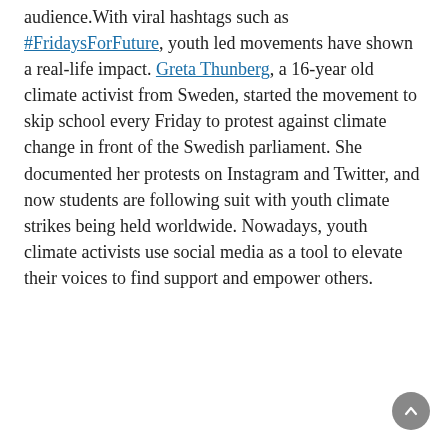audience.With viral hashtags such as #FridaysForFuture, youth led movements have shown a real-life impact. Greta Thunberg, a 16-year old climate activist from Sweden, started the movement to skip school every Friday to protest against climate change in front of the Swedish parliament. She documented her protests on Instagram and Twitter, and now students are following suit with youth climate strikes being held worldwide. Nowadays, youth climate activists use social media as a tool to elevate their voices to find support and empower others.